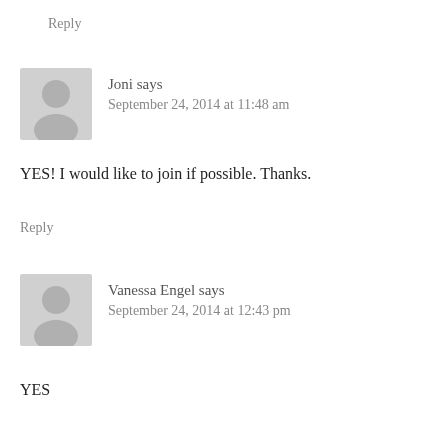Reply
Joni says
September 24, 2014 at 11:48 am
YES! I would like to join if possible. Thanks.
Reply
Vanessa Engel says
September 24, 2014 at 12:43 pm
YES